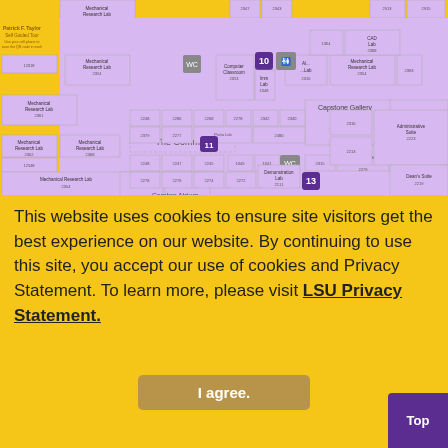[Figure (map): Patrick F. Taylor Hall second-floor plan showing mechanical research labs, computer classrooms, fluid mechanics lab, CAD lab, administrative suite, dean's suite, and other spaces numbered 2100s–2300s. Numbered tour markers 10, 11, 13, 14 visible.]
Patrick F. Taylor
Self Guided Tour
Use your cell phone to scan the QR code in each
This website uses cookies to ensure site visitors get the best experience on our website. By continuing to use this site, you accept our use of cookies and Privacy Statement. To learn more, please visit LSU Privacy Statement.
CAPSTONE GALLERY
2. CAMBRE ATRIUM & DONOR WALL
3. DOW CHEMICAL UNIT OPERATIONS LAB
4. BASF SUSTAINABLE LIVING LAB